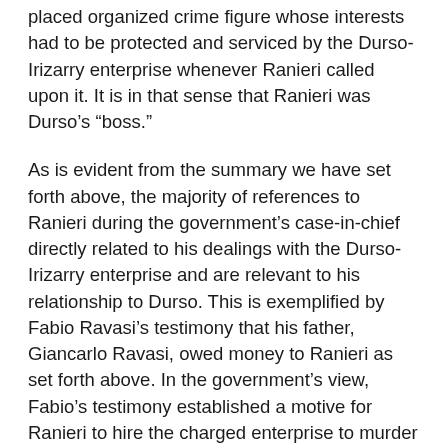placed organized crime figure whose interests had to be protected and serviced by the Durso-Irizarry enterprise whenever Ranieri called upon it. It is in that sense that Ranieri was Durso’s “boss.”
As is evident from the summary we have set forth above, the majority of references to Ranieri during the government’s case-in-chief directly related to his dealings with the Durso-Irizarry enterprise and are relevant to his relationship to Durso. This is exemplified by Fabio Ravasi’s testimony that his father, Giancarlo Ravasi, owed money to Ranieri as set forth above. In the government’s view, Fabio’s testimony established a motive for Ranieri to hire the charged enterprise to murder Giancarlo Ravasi. Ranieri was also mentioned as encouraging the enterprise’s planned armored car robbery at the Jewish Medical Center in Brooklyn, and other testimony tied him to the Marmora murder. As noted above, Sammartino testified that, after that murder, Irizarry made references to “the old man,” i.e., Ranieri, and warned that Sammartino would